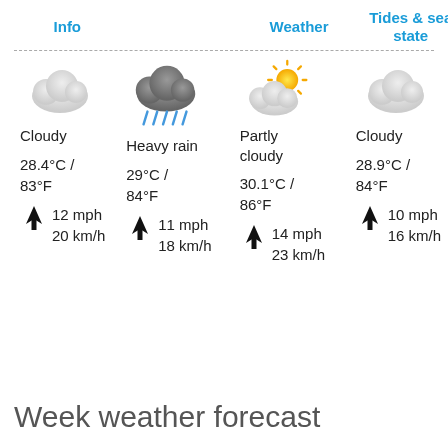Info
Weather
Tides & sea state
[Figure (illustration): Four weather icons in a row: cloudy (light grey cloud), heavy rain (dark cloud with rain drops), partly cloudy (sun behind cloud), cloudy (light grey cloud)]
Cloudy
28.4°C / 83°F
↑ 12 mph
20 km/h
Heavy rain
29°C / 84°F
↑ 11 mph
18 km/h
Partly cloudy
30.1°C / 86°F
↑ 14 mph
23 km/h
Cloudy
28.9°C / 84°F
↑ 10 mph
16 km/h
Week weather forecast